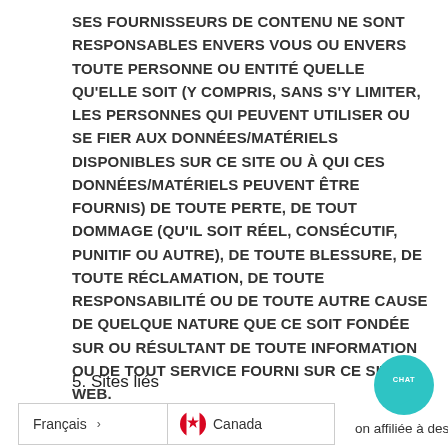SES FOURNISSEURS DE CONTENU NE SONT RESPONSABLES ENVERS VOUS OU ENVERS TOUTE PERSONNE OU ENTITÉ QUELLE QU'ELLE SOIT (Y COMPRIS, SANS S'Y LIMITER, LES PERSONNES QUI PEUVENT UTILISER OU SE FIER AUX DONNÉES/MATÉRIELS DISPONIBLES SUR CE SITE OU À QUI CES DONNÉES/MATÉRIELS PEUVENT ÊTRE FOURNIS) DE TOUTE PERTE, DE TOUT DOMMAGE (QU'IL SOIT RÉEL, CONSÉCUTIF, PUNITIF OU AUTRE), DE TOUTE BLESSURE, DE TOUTE RÉCLAMATION, DE TOUTE RESPONSABILITÉ OU DE TOUTE AUTRE CAUSE DE QUELQUE NATURE QUE CE SOIT FONDÉE SUR OU RÉSULTANT DE TOUTE INFORMATION OU DE TOUT SERVICE FOURNI SUR CE SITE WEB.
5. Sites liés
on affiliée à des sites